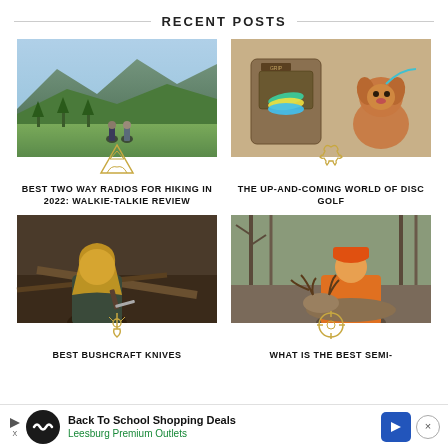RECENT POSTS
[Figure (photo): Two hikers with backpacks walking through green mountain landscape]
BEST TWO WAY RADIOS FOR HIKING IN 2022: WALKIE-TALKIE REVIEW
[Figure (photo): Disc golf bag (GRIP brand) and fluffy orange poodle dog on leash outdoors]
THE UP-AND-COMING WORLD OF DISC GOLF
[Figure (photo): Blonde woman crouching in forest handling branches/knife]
BEST BUSHCRAFT KNIVES
[Figure (photo): Hunter in orange jacket and hat posing with harvested deer in forest]
WHAT IS THE BEST SEMI-
Back To School Shopping Deals
Leesburg Premium Outlets